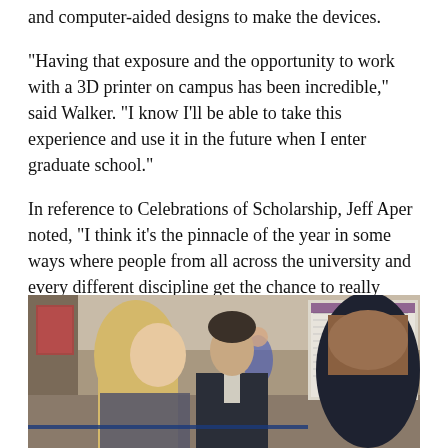and computer-aided designs to make the devices.
"Having that exposure and the opportunity to work with a 3D printer on campus has been incredible," said Walker. "I know I'll be able to take this experience and use it in the future when I enter graduate school."
In reference to Celebrations of Scholarship, Jeff Aper noted, "I think it's the pinnacle of the year in some ways where people from all across the university and every different discipline get the chance to really show off the quality of work that students are doing."
[Figure (photo): Photo of students in a university hallway with research posters on the wall. A young man in a dark denim jacket stands in the center, with a blonde woman to his left and another person with long hair with back turned to the camera on the right. Other students are visible in the background.]